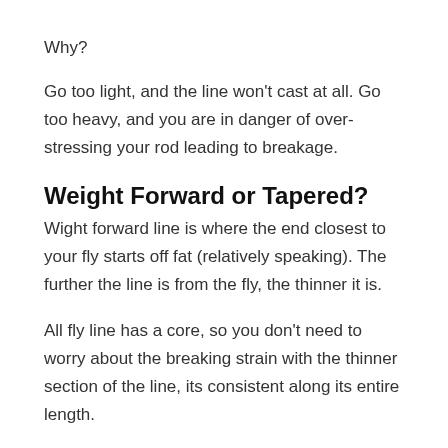Why?
Go too light, and the line won't cast at all. Go too heavy, and you are in danger of over-stressing your rod leading to breakage.
Weight Forward or Tapered?
Wight forward line is where the end closest to your fly starts off fat (relatively speaking). The further the line is from the fly, the thinner it is.
All fly line has a core, so you don't need to worry about the breaking strain with the thinner section of the line, its consistent along its entire length.